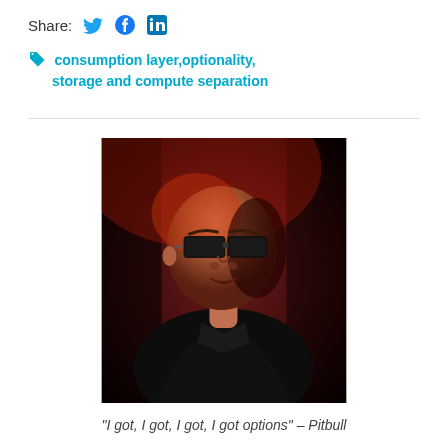Share:
consumption layer, optionality, storage and compute separation
[Figure (photo): Portrait photo of a bald man wearing dark sunglasses and a black suit jacket, illuminated by red and dark stage lighting, looking upward and to the side.]
“I got, I got, I got, I got options” – Pitbull